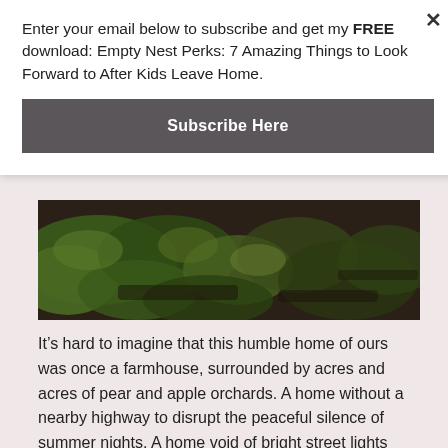Enter your email below to subscribe and get my FREE download: Empty Nest Perks: 7 Amazing Things to Look Forward to After Kids Leave Home.
Subscribe Here
[Figure (photo): Close-up photograph of green grass and dark soil/dirt ground, partial view cropped at top.]
It’s hard to imagine that this humble home of ours was once a farmhouse, surrounded by acres and acres of pear and apple orchards. A home without a nearby highway to disrupt the peaceful silence of summer nights. A home void of bright street lights hindering views of star-filled night skies.